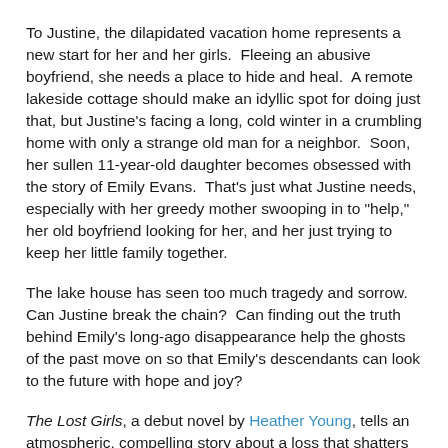To Justine, the dilapidated vacation home represents a new start for her and her girls.  Fleeing an abusive boyfriend, she needs a place to hide and heal.  A remote lakeside cottage should make an idyllic spot for doing just that, but Justine's facing a long, cold winter in a crumbling home with only a strange old man for a neighbor.  Soon, her sullen 11-year-old daughter becomes obsessed with the story of Emily Evans.  That's just what Justine needs, especially with her greedy mother swooping in to "help," her old boyfriend looking for her, and her just trying to keep her little family together.
The lake house has seen too much tragedy and sorrow.  Can Justine break the chain?  Can finding out the truth behind Emily's long-ago disappearance help the ghosts of the past move on so that Emily's descendants can look to the future with hope and joy?
The Lost Girls, a debut novel by Heather Young, tells an atmospheric, compelling story about a loss that shatters the lives of all involved.  Its characters are complex and interesting, although few are truly likable.  The plot rambles